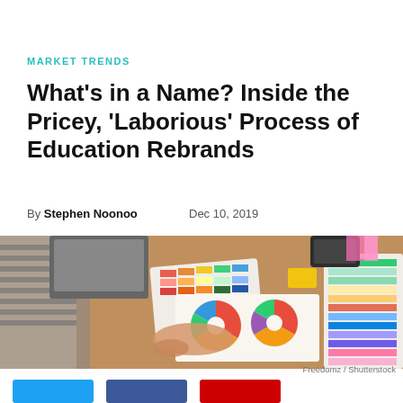MARKET TRENDS
What’s in a Name? Inside the Pricey, ‘Laborious’ Process of Education Rebrands
By Stephen Noonoo    Dec 10, 2019
[Figure (photo): Person holding color swatches and palette samples on a desk with color wheel print materials, a laptop, and design tools. Branding/design workspace.]
Freedomz / Shutterstock